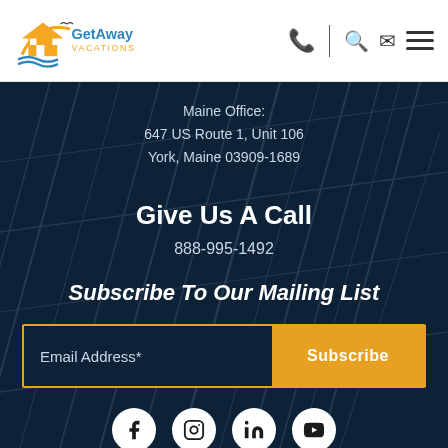[Figure (logo): GetAway Vacations logo with house and waves]
GetAway Vacations - navigation header with phone, search, email, and menu icons
Maine Office:
647 US Route 1, Unit 106
York, Maine 03909-1689
Give Us A Call
888-995-1492
Subscribe To Our Mailing List
Email Address* [input field] Subscribe [button]
[Figure (infographic): Social media icons: Facebook, Instagram, LinkedIn, YouTube]